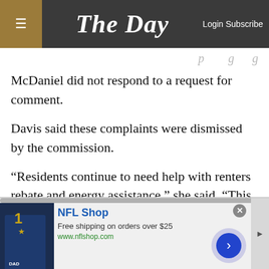The Day — Login Subscribe
McDaniel did not respond to a request for comment.
Davis said these complaints were dismissed by the commission.
“Residents continue to need help with renters rebate and energy assistance,” she said. “This was a task we seem to have always supported residents in obtaining, and current commissioners seem to think we are not required to do this, and the town can help more than 80 residents figure it out.”
[Figure (other): NFL Shop advertisement banner with a Dallas Cowboys jersey image, NFL Shop logo, 'Free shipping on orders over $25', www.nflshop.com, and a right-arrow navigation button]